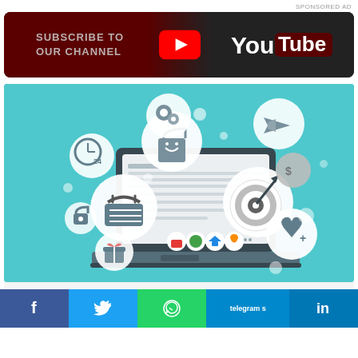SPONSORED AD
[Figure (screenshot): YouTube channel subscribe banner with red/dark background, YouTube play button logo, and 'SUBSCRIBE TO OUR CHANNEL' text]
[Figure (illustration): E-commerce infographic showing a laptop with various floating icons: shopping basket, shopping bag, gears, clock 24, airplane, target/goal, dollar coin, gift box, heart, padlock, and colorful app icons]
[Figure (infographic): Social media share bar with Facebook, Twitter, WhatsApp, Telegram, and LinkedIn buttons]